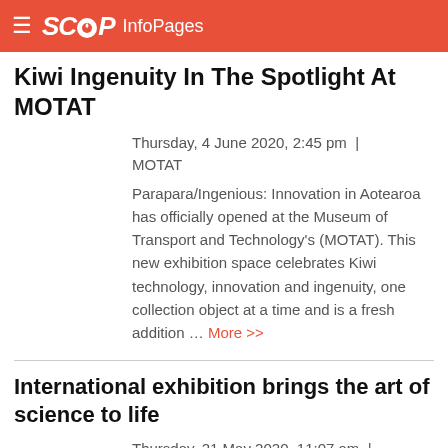SCOOP InfoPages
Kiwi Ingenuity In The Spotlight At MOTAT
Thursday, 4 June 2020, 2:45 pm | MOTAT
Parapara/Ingenious: Innovation in Aotearoa has officially opened at the Museum of Transport and Technology's (MOTAT). This new exhibition space celebrates Kiwi technology, innovation and ingenuity, one collection object at a time and is a fresh addition … More >>
International exhibition brings the art of science to life
Thursday, 21 May 2020, 11:07 am |